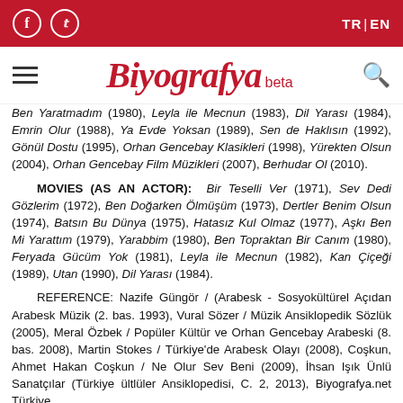Biyografya beta — TR | EN
Ben Yaratmadım (1980), Leyla ile Mecnun (1983), Dil Yarası (1984), Emrin Olur (1988), Ya Evde Yoksan (1989), Sen de Haklısın (1992), Gönül Dostu (1995), Orhan Gencebay Klasikleri (1998), Yürekten Olsun (2004), Orhan Gencebay Film Müzikleri (2007), Berhudar Ol (2010).
MOVIES (AS AN ACTOR): Bir Teselli Ver (1971), Sev Dedi Gözlerim (1972), Ben Doğarken Ölmüşüm (1973), Dertler Benim Olsun (1974), Batsın Bu Dünya (1975), Hatasız Kul Olmaz (1977), Aşkı Ben Mi Yarattım (1979), Yarabbim (1980), Ben Topraktan Bir Canım (1980), Feryada Gücüm Yok (1981), Leyla ile Mecnun (1982), Kan Çiçeği (1989), Utan (1990), Dil Yarası (1984).
REFERENCE: Nazife Güngör / (Arabesk - Sosyokültürel Açıdan Arabesk Müzik (2. bas. 1993), Vural Sözer / Müzik Ansiklopedik Sözlük (2005), Meral Özbek / Popüler Kültür ve Orhan Gencebay Arabeski (8. bas. 2008), Martin Stokes / Türkiye'de Arabesk Olayı (2008), Coşkun, Ahmet Hakan Coşkun / Ne Olur Sev Beni (2009), İhsan Işık Ünlü Sanatçılar (Türkiye ültlüler Ansiklopedisi, C. 2, 2013), Biyografya.net Türkiye